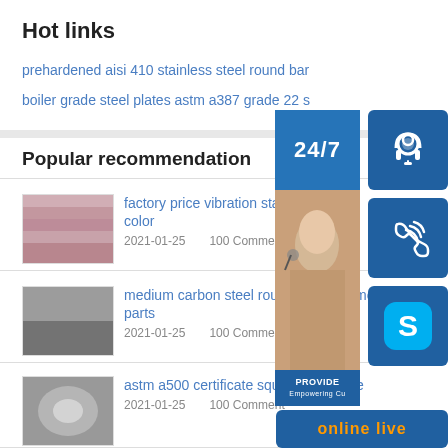Hot links
prehardened aisi 410 stainless steel round bar
boiler grade steel plates astm a387 grade 22 s
Popular recommendation
factory price vibration staless steel color
2021-01-25    100 Comment
medium carbon steel round bar s50c mould parts
2021-01-25    100 Comment
astm a500 certificate square steel pipe
2021-01-25    100 Comment
[Figure (photo): Customer service overlay widget with 24/7 label, lady with headset, headset icon, phone icon, Skype icon, and online live button]